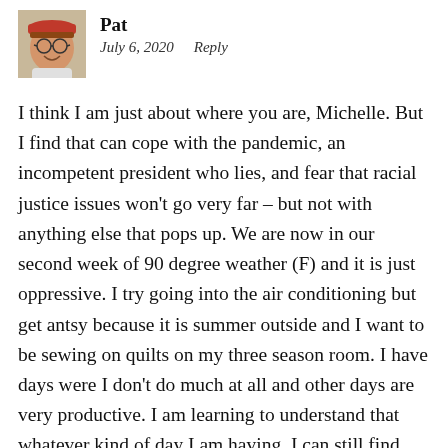[Figure (photo): Small circular/square avatar photo of a person named Pat, wearing glasses and smiling, with a cap.]
Pat
July 6, 2020   Reply
I think I am just about where you are, Michelle. But I find that can cope with the pandemic, an incompetent president who lies, and fear that racial justice issues won't go very far – but not with anything else that pops up. We are now in our second week of 90 degree weather (F) and it is just oppressive. I try going into the air conditioning but get antsy because it is summer outside and I want to be sewing on quilts on my three season room. I have days were I don't do much at all and other days are very productive. I am learning to understand that whatever kind of day I am having, I can still find joy. If I need to just sit quietly doing nothing, then that is where I will find happiness. I hope you and your family stays healthy. We have a